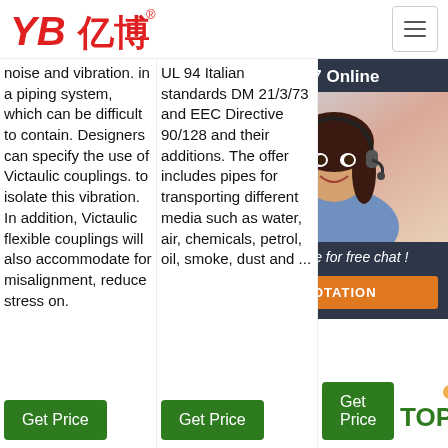[Figure (logo): YB亿博 logo in red text with registered trademark symbol]
noise and vibration. in a piping system, which can be difficult to contain. Designers can specify the use of Victaulic couplings. to isolate this vibration. In addition, Victaulic flexible couplings will also accommodate for misalignment, reduce stress on.
UL 94 Italian standards DM 21/3/73 and EEC Directive 90/128 and their additions. The offer includes pipes for transporting different media such as water, air, chemicals, petrol, oil, smoke, dust and ...
trans) as well as in smaller installations of in... In th... inst... fre... con... as a... cir... sys... und... con... pre... tem...
[Figure (photo): 24/7 Online chat popup with woman wearing headset, Click here for free chat button, and QUOTATION orange button]